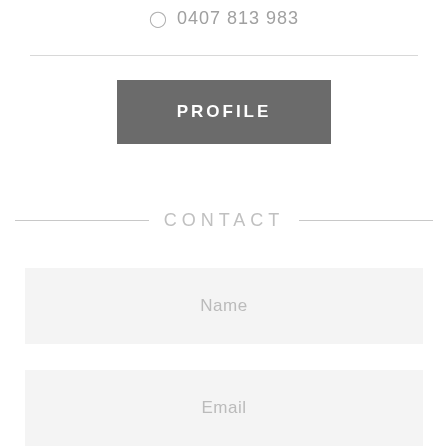0407 813 983
PROFILE
CONTACT
Name
Email